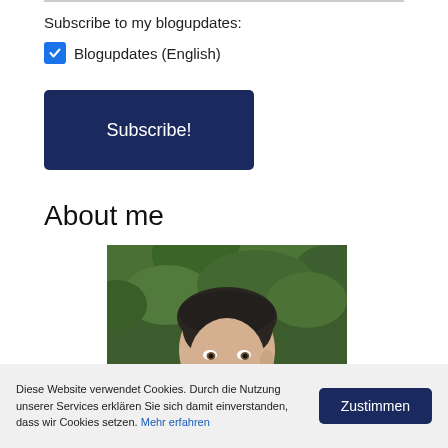Subscribe to my blogupdates:
☑ Blogupdates (English)
Subscribe!
About me
[Figure (photo): Portrait photo of a person with dark short hair, looking slightly to the side, with green foliage in the background.]
Diese Website verwendet Cookies. Durch die Nutzung unserer Services erklären Sie sich damit einverstanden, dass wir Cookies setzen. Mehr erfahren
Zustimmen